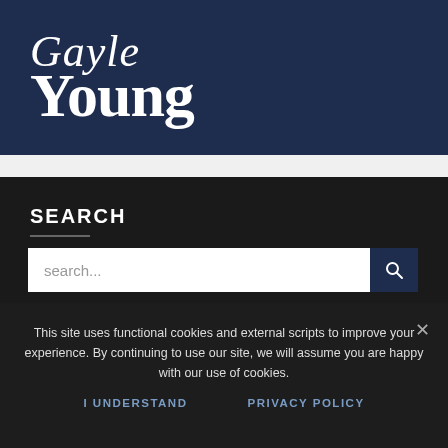[Figure (logo): Gayle Young logo in white script and serif text on dark navy background]
SEARCH
[Figure (screenshot): Search input bar with placeholder text 'search...' and dark navy search button with magnifying glass icon]
This site uses functional cookies and external scripts to improve your experience. By continuing to use our site, we will assume you are happy with our use of cookies.
I UNDERSTAND
PRIVACY POLICY